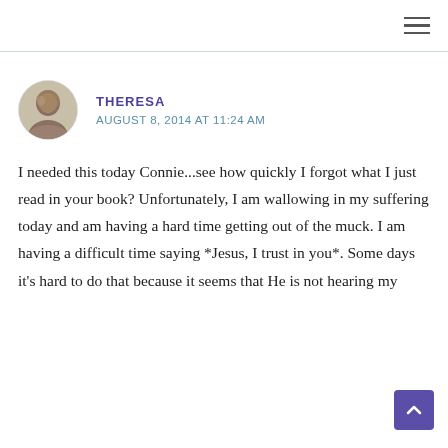THERESA
AUGUST 8, 2014 AT 11:24 AM
I needed this today Connie...see how quickly I forgot what I just read in your book? Unfortunately, I am wallowing in my suffering today and am having a hard time getting out of the muck. I am having a difficult time saying *Jesus, I trust in you*. Some days it's hard to do that because it seems that He is not hearing my